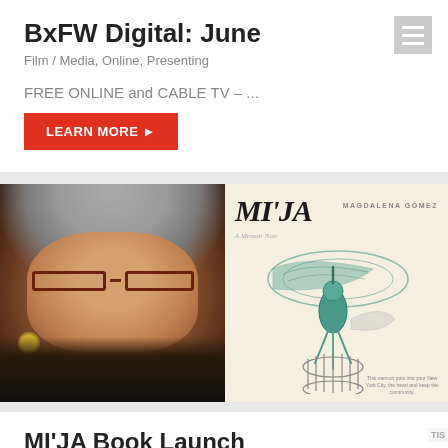BxFW Digital: June
Film / Media, Online, Presenting
FREE ONLINE and CABLE TV – ...
LEARN MORE
[Figure (photo): Portrait photo of a woman with silver hair and red-framed glasses on left; book cover 'MI'JA' by Magdalena Gómez on right, featuring a teal hummingbird illustration]
MI'JA Book Launch